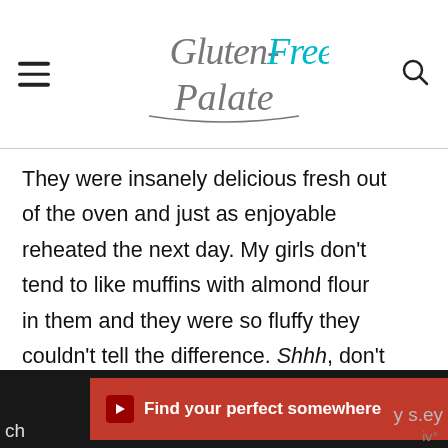Gluten-Free Palate
They were insanely delicious fresh out of the oven and just as enjoyable reheated the next day. My girls don't tend to like muffins with almond flour in them and they were so fluffy they couldn't tell the difference. Shhh, don't tell them!
If my girls know these gluten-free ch...y s.ey
[Figure (infographic): Advertisement banner: 'Find your perfect somewhere' on red background with image and control icons]